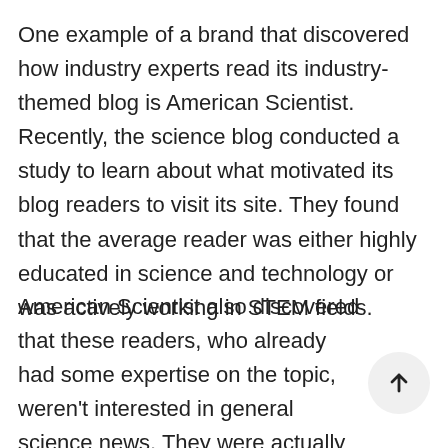One example of a brand that discovered how industry experts read its industry-themed blog is American Scientist. Recently, the science blog conducted a study to learn about what motivated its blog readers to visit its site. They found that the average reader was either highly educated in science and technology or was actively working in STEM fields.
American Scientist also discovered that these readers, who already had some expertise on the topic, weren't interested in general science news. They were actually interested in